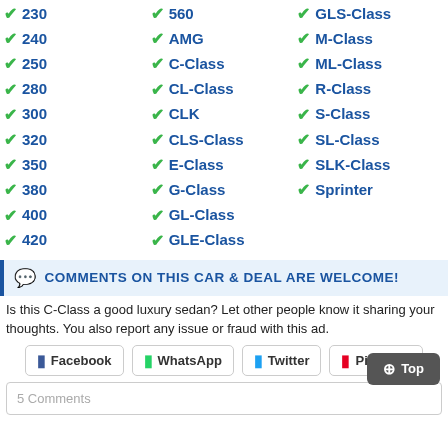230
240
250
280
300
320
350
380
400
420
560
AMG
C-Class
CL-Class
CLK
CLS-Class
E-Class
G-Class
GL-Class
GLE-Class
GLS-Class
M-Class
ML-Class
R-Class
S-Class
SL-Class
SLK-Class
Sprinter
COMMENTS ON THIS CAR & DEAL ARE WELCOME!
Is this C-Class a good luxury sedan? Let other people know it sharing your thoughts. You also report any issue or fraud with this ad.
Facebook  WhatsApp  Twitter  Pinterest
5 Comments